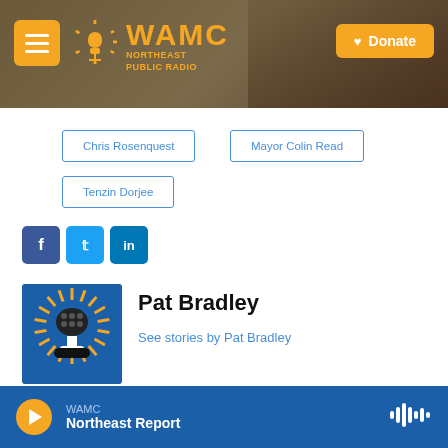WAMC Northeast Public Radio
Chris Rosenquest
Mayor Colin Read
Tenzin Dorjee
[Figure (logo): WAMC Northeast Public Radio logo with microphone]
Pat Bradley
See stories by Pat Bradley
WAMC Northeast Report